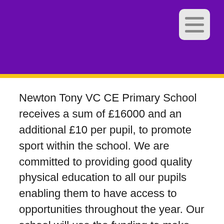Newton Tony VC CE Primary School receives a sum of £16000 and an additional £10 per pupil, to promote sport within the school. We are committed to providing good quality physical education to all our pupils enabling them to have access to opportunities throughout the year. Our school will use the funding to make additional and sustainable improvements to the quality of PE and sport we offer.
Please click on the links to see...